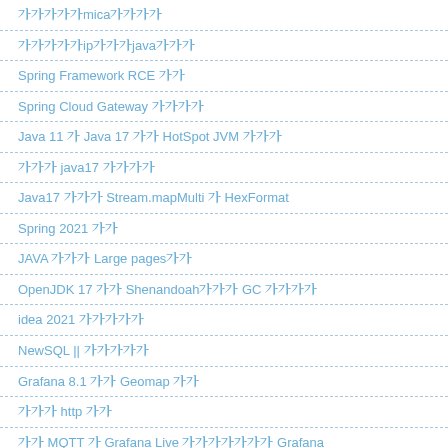ελληνικάmicaκατάλογος
αγγλικάipελληνικάjavaκατάλογος
Spring Framework RCE 漏洞分析
Spring Cloud Gateway 漏洞复现分析
Java 11 升 Java 17 后的 HotSpot JVM 参数变化
升级到 java17 后的踩坑記錄
Java17 新特性之 Stream.mapMulti 和 HexFormat
Spring 2021 总结
JAVA 가상 메모리 Large pages사용
OpenJDK 17 에서 Shenandoah저지연 GC 사용하기
idea 2021 버전업데이트내용
NewSQL || 数据库发展及现状
Grafana 8.1 新增 Geomap 面板
通过超 http 来通信
用 MQTT 和 Grafana Live 实现实时数据可视化到 Grafana
ελληνικάκατάλογος